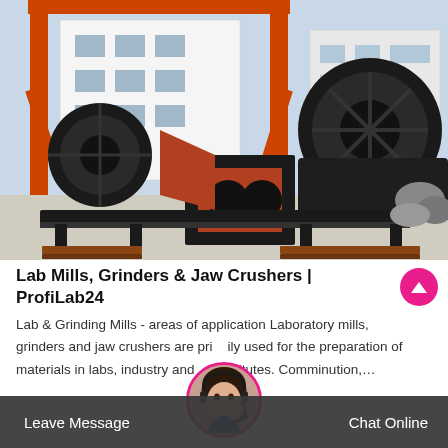[Figure (photo): Outdoor industrial photo showing large black-painted ball mill grinding machinery components on pallets in a factory yard, with orange gantry crane structure and white industrial building in background. Multiple cylindrical mill drums and rectangular duct/chute components visible.]
Lab Mills, Grinders & Jaw Crushers | ProfiLab24
Lab & Grinding Mills - areas of application Laboratory mills, grinders and jaw crushers are primarily used for the preparation of materials in labs, industry and institutes. Comminution,...